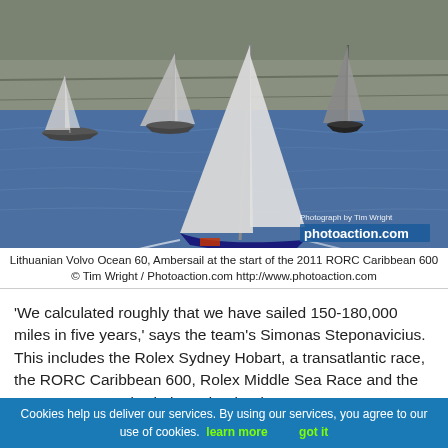[Figure (photo): Sailing boats racing on open water near rocky cliffs. Shows the Lithuanian Volvo Ocean 60 Ambersail and other racing yachts at the start of the 2011 RORC Caribbean 600. Photo by Tim Wright / Photoaction.com]
Lithuanian Volvo Ocean 60, Ambersail at the start of the 2011 RORC Caribbean 600 © Tim Wright / Photoaction.com http://www.photoaction.com
'We calculated roughly that we have sailed 150-180,000 miles in five years,' says the team's Simonas Steponavicius. This includes the Rolex Sydney Hobart, a transatlantic race, the RORC Caribbean 600, Rolex Middle Sea Race and the Sevenstar Round Britain and Ireland Race.
Sadly last week Ambersail, their 2001 vintage former ASSA ABLOY training boat, dismasted off her homeport
Cookies help us deliver our services. By using our services, you agree to our use of cookies. learn more    got it